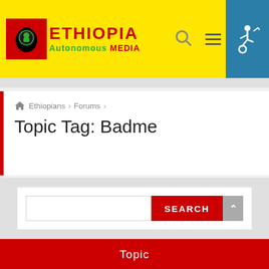ETHIOPIA Autonomous MEDIA
Ethiopians › Forums ›
Topic Tag: Badme
SEARCH
Topic